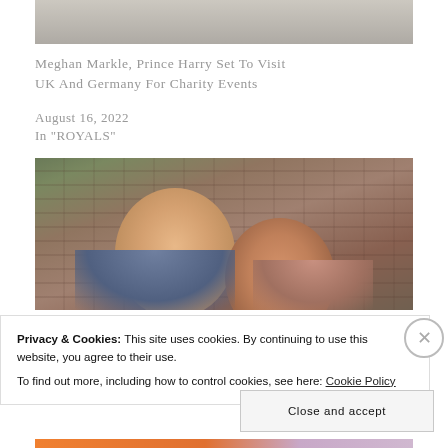[Figure (photo): Partial photo of people in formal attire, cropped at top of page]
Meghan Markle, Prince Harry Set To Visit UK And Germany For Charity Events
August 16, 2022
In "ROYALS"
[Figure (photo): Photo of Prince Harry and Meghan Markle smiling together outdoors in front of a brick wall]
Privacy & Cookies: This site uses cookies. By continuing to use this website, you agree to their use.
To find out more, including how to control cookies, see here: Cookie Policy
Close and accept